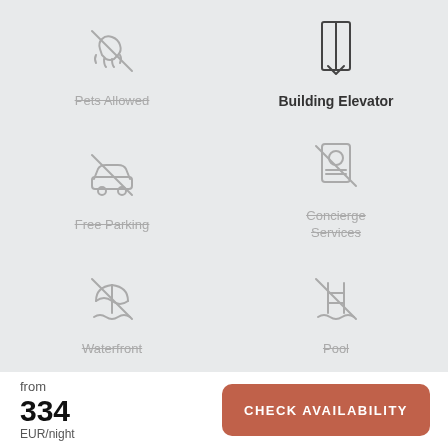[Figure (illustration): Pets Allowed icon (crossed out)]
Pets Allowed (strikethrough)
[Figure (illustration): Building Elevator icon]
Building Elevator
[Figure (illustration): Free Parking icon (crossed out)]
Free Parking (strikethrough)
[Figure (illustration): Concierge Services icon (crossed out)]
Concierge Services (strikethrough)
[Figure (illustration): Waterfront icon (crossed out)]
Waterfront (strikethrough)
[Figure (illustration): Pool icon (crossed out)]
Pool (strikethrough)
from
334
EUR/night
CHECK AVAILABILITY